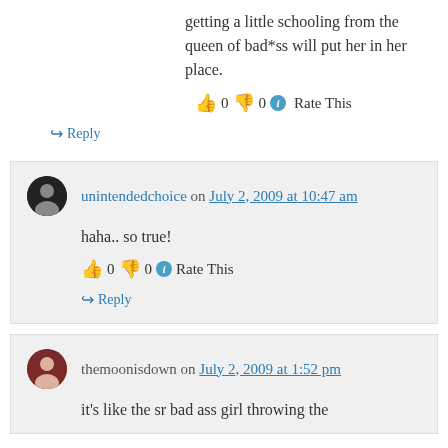getting a little schooling from the queen of bad*ss will put her in her place.
👍 0 👎 0 ℹ Rate This
↪ Reply
unintendedchoice on July 2, 2009 at 10:47 am
haha.. so true!
👍 0 👎 0 ℹ Rate This
↪ Reply
themoonisdown on July 2, 2009 at 1:52 pm
it's like the sr bad ass girl throwing the